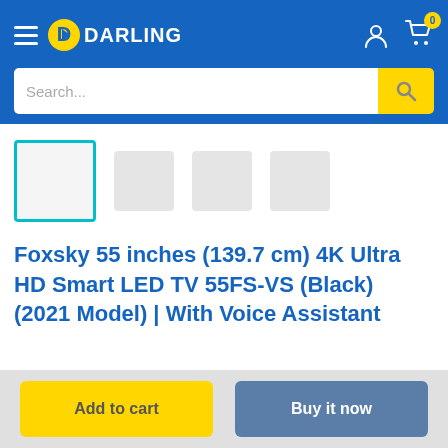DARLING
[Figure (screenshot): Search bar with placeholder text 'Search...' and yellow search button]
[Figure (photo): Product thumbnail images row with first thumbnail selected (teal border)]
Foxsky 55 inches (139.7 cm) 4K Ultra HD Smart LED TV 55FS-VS (Black) (2021 Model) | With Voice Assistant
Add to cart
Buy it now